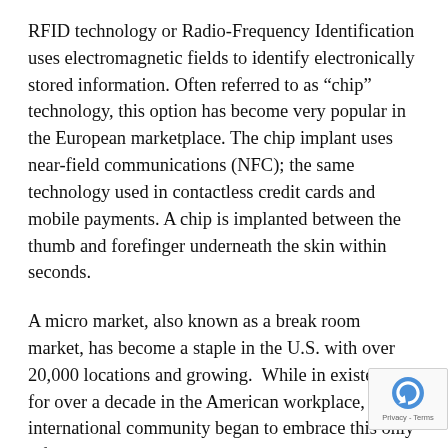RFID technology or Radio-Frequency Identification uses electromagnetic fields to identify electronically stored information. Often referred to as “chip” technology, this option has become very popular in the European marketplace. The chip implant uses near-field communications (NFC); the same technology used in contactless credit cards and mobile payments. A chip is implanted between the thumb and forefinger underneath the skin within seconds.
A micro market, also known as a break room market, has become a staple in the U.S. with over 20,000 locations and growing. While in existence for over a decade in the American workplace, the international community began to embrace this only a few years ago. A micro market is a mini convenience store located right in the employee break room using a self-checkout kiosk, similar to what is found at many major retailers. Businesses see multiple benefits